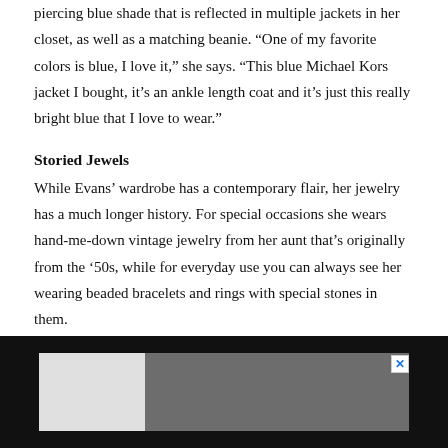piercing blue shade that is reflected in multiple jackets in her closet, as well as a matching beanie. “One of my favorite colors is blue, I love it,” she says. “This blue Michael Kors jacket I bought, it’s an ankle length coat and it’s just this really bright blue that I love to wear.”
Storied Jewels
While Evans’ wardrobe has a contemporary flair, her jewelry has a much longer history. For special occasions she wears hand-me-down vintage jewelry from her aunt that’s originally from the ’50s, while for everyday use you can always see her wearing beaded bracelets and rings with special stones in them.
[Figure (other): Advertisement banner with gray background, white image placeholder on left, and close button (X) in top right corner.]